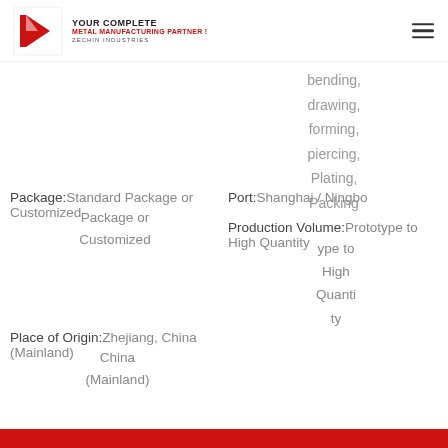Zechin Industries — YOUR COMPLETE METAL MANUFACTURING PARTNER!
bending, drawing, forming, piercing, Plating, Packing
Package:Standard Package or Customized
Port:Shanghai / Ningbo
Production Volume:Prototype to High Quantity
Place of Origin:Zhejiang, China (Mainland)